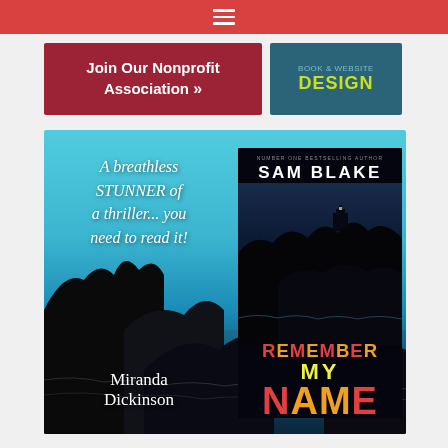≡ (hamburger menu icon)
[Figure (screenshot): Red crimson button: Join Our Nonprofit Association »]
[Figure (screenshot): Teal button: BOOK & WEBSITE DESIGN]
[Figure (photo): Book promotion image for 'Remember My Name' by Sam Blake — quote: 'A breathless STUNNER of a thriller... you need to read it!' by Miranda Dickinson, with book cover showing coastal rocks scene and title in orange/red/yellow letters. Author listed as Number One Bestselling Author. Tagline: A wife. A mistress. A daughter. And a threat you won't forget.]